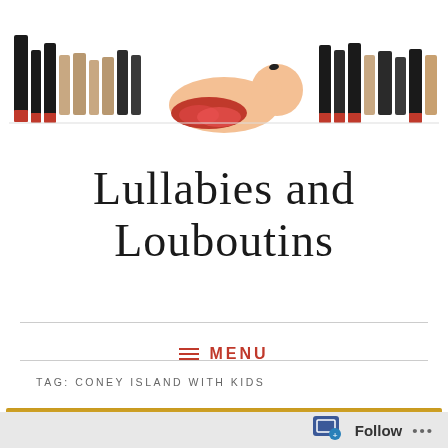[Figure (photo): A baby in a red tutu lying among a row of high-heeled shoes (Louboutins), arranged as a blog banner image]
Lullabies and Louboutins
≡ MENU
TAG: CONEY ISLAND WITH KIDS
[Figure (photo): Partial preview image of a blog post, showing a golden/yellow background with teal and red circular icons]
Follow ...